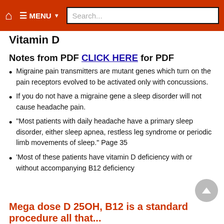Vitamin D
Notes from PDF CLICK HERE for PDF
Migraine pain transmitters are mutant genes which turn on the pain receptors evolved to be activated only with concussions.
If you do not have a migraine gene a sleep disorder will not cause headache pain.
"Most patients with daily headache have a primary sleep disorder, either sleep apnea, restless leg syndrome or periodic limb movements of sleep." Page 35
'Most of these patients have vitamin D deficiency with or without accompanying B12 deficiency
Mega dose D 25OH, B12 is a standard procedure all that...